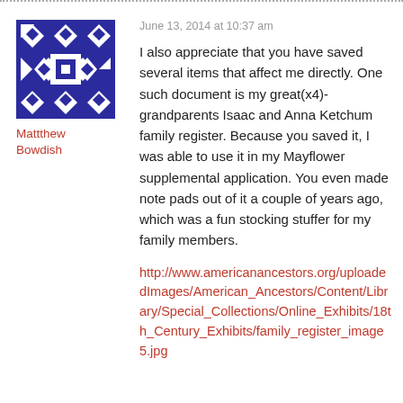[Figure (illustration): Blue and white geometric quilt-pattern avatar icon, square with diamond and square motifs]
Mattthew Bowdish
June 13, 2014 at 10:37 am
I also appreciate that you have saved several items that affect me directly. One such document is my great(x4)-grandparents Isaac and Anna Ketchum family register. Because you saved it, I was able to use it in my Mayflower supplemental application. You even made note pads out of it a couple of years ago, which was a fun stocking stuffer for my family members.
http://www.americanancestors.org/uploadedImages/American_Ancestors/Content/Library/Special_Collections/Online_Exhibits/18th_Century_Exhibits/family_register_image5.jpg